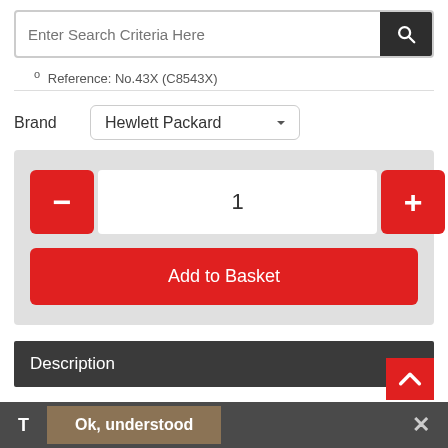[Figure (screenshot): Search bar with placeholder text 'Enter Search Criteria Here' and dark search button with magnifying glass icon]
° Reference: No.43X (C8543X)
Brand   Hewlett Packard (dropdown)
[Figure (screenshot): Quantity selector with red minus button, value '1', red plus button, and red 'Add to Basket' button on grey background]
Description
Only genuine HP toner cartridges, such as the 43X High Yiel...
[Figure (screenshot): Cookie consent bar at bottom with 'T', 'Ok, understood' button, and close X button]